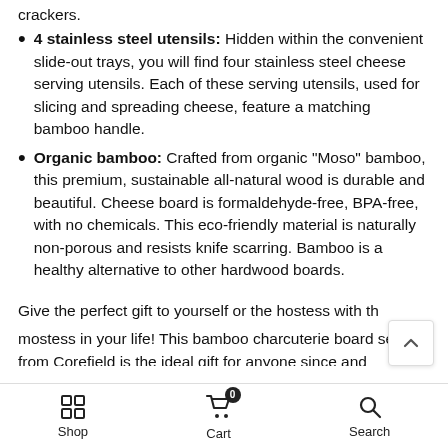crackers.
4 stainless steel utensils: Hidden within the convenient slide-out trays, you will find four stainless steel cheese serving utensils. Each of these serving utensils, used for slicing and spreading cheese, feature a matching bamboo handle.
Organic bamboo: Crafted from organic "Moso" bamboo, this premium, sustainable all-natural wood is durable and beautiful. Cheese board is formaldehyde-free, BPA-free, with no chemicals. This eco-friendly material is naturally non-porous and resists knife scarring. Bamboo is a healthy alternative to other hardwood boards.
Give the perfect gift to yourself or the hostess with the mostess in your life! This bamboo charcuterie board se...
Shop  Cart  Search